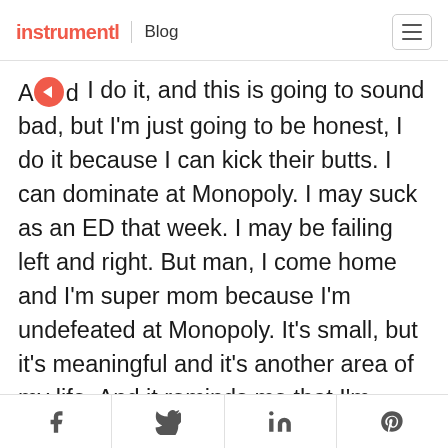instrumentl | Blog
And I do it, and this is going to sound bad, but I'm just going to be honest, I do it because I can kick their butts. I can dominate at Monopoly. I may suck as an ED that week. I may be failing left and right. But man, I come home and I'm super mom because I'm undefeated at Monopoly. It's small, but it's meaningful and it's another area of my life. And it reminds me that I'm valued, that I am seen through a different lens other than a
f  [twitter]  in  [pinterest]